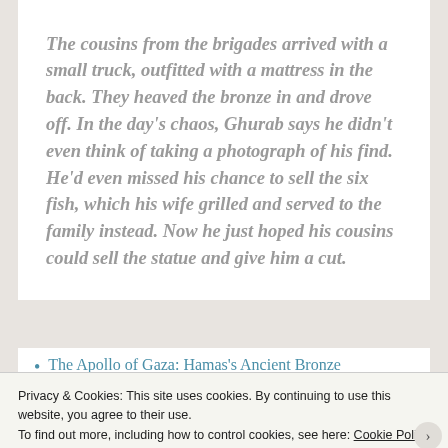The cousins from the brigades arrived with a small truck, outfitted with a mattress in the back. They heaved the bronze in and drove off. In the day's chaos, Ghurab says he didn't even think of taking a photograph of his find. He'd even missed his chance to sell the six fish, which his wife grilled and served to the family instead. Now he just hoped his cousins could sell the statue and give him a cut.
The Apollo of Gaza: Hamas's Ancient Bronze
Privacy & Cookies: This site uses cookies. By continuing to use this website, you agree to their use. To find out more, including how to control cookies, see here: Cookie Policy
Close and accept